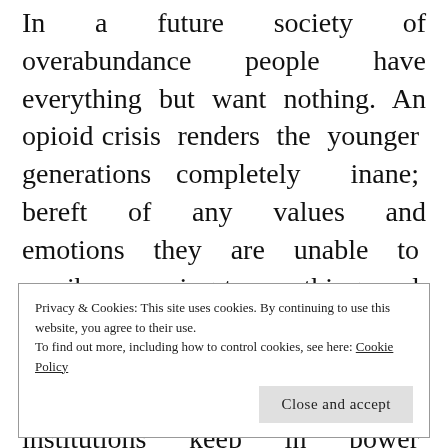In a future society of overabundance people have everything but want nothing. An opioid crisis renders the younger generations completely inane; bereft of any values and emotions they are unable to ascribe meaning to anything and even forget to eat. The society is held together only by this addiction: the governing institutions keep in power precisely through the constant sedation of the masses, devising new, improved ways of rendering
Privacy & Cookies: This site uses cookies. By continuing to use this website, you agree to their use.
To find out more, including how to control cookies, see here: Cookie Policy